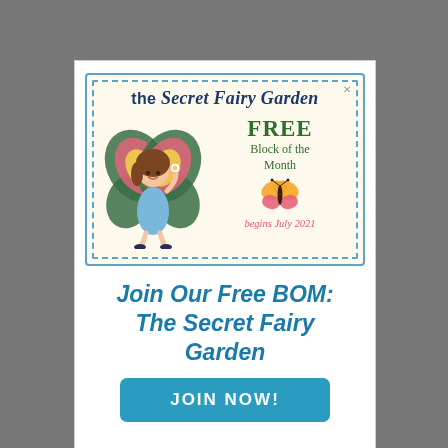[Figure (illustration): The Secret Fairy Garden promotional banner featuring a fairy girl with large butterfly wings in green, pink and yellow, a butterfly illustration, text 'FREE Block of the Month - begins July 2021', on a cream dotted background with blue dashed border]
Join Our Free BOM: The Secret Fairy Garden
JOIN NOW!